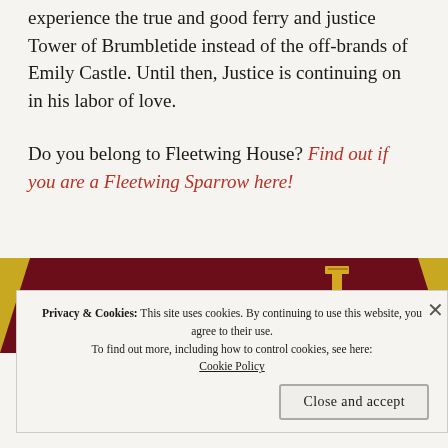experience the true and good ferry and justice Tower of Brumbletide instead of the off-brands of Emily Castle. Until then, Justice is continuing on in his labor of love.

Do you belong to Fleetwing House? Find out if you are a Fleetwing Sparrow here!
[Figure (illustration): Partial illustration showing a dark maroon/gold decorative image, possibly a mortarboard or similar academic/ceremonial hat, with a gold decorative element (tassel or nail) visible on top, against a gold/yellow background.]
Privacy & Cookies: This site uses cookies. By continuing to use this website, you agree to their use.
To find out more, including how to control cookies, see here:
Cookie Policy
Close and accept